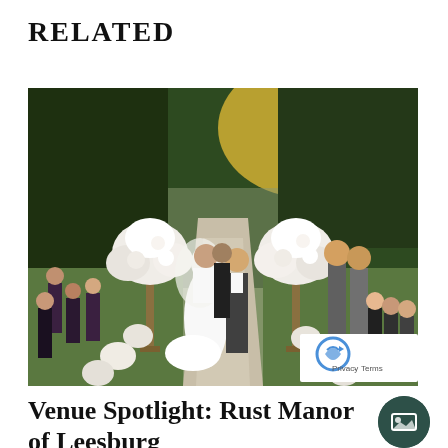RELATED
[Figure (photo): Outdoor wedding ceremony with bride and groom exchanging vows, officiant behind them, white floral arrangements on tall pedestals lining an aisle, guests seated on either side, lush green hedges in background]
Venue Spotlight: Rust Manor of Leesburg